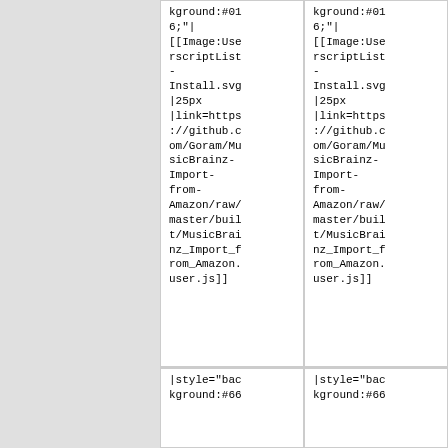| Column 1 | Column 2 |
| --- | --- |
| kground:#016;"|
[[Image:UserscriptList-Install.svg|25px|link=https://github.com/Goram/MusicBrainz-Import-from-Amazon/raw/master/built/MusicBrainz_Import_from_Amazon.user.js]] | kground:#016;"|
[[Image:UserscriptList-Install.svg|25px|link=https://github.com/Goram/MusicBrainz-Import-from-Amazon/raw/master/built/MusicBrainz_Import_from_Amazon.user.js]] |
| |style="background:#66 | |style="background:#66 |